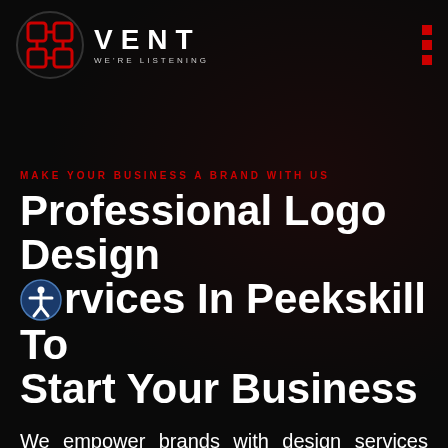[Figure (logo): Vent logo with circular icon containing interlocked letters and VENT WE'RE LISTENING text]
MAKE YOUR BUSINESS A BRAND WITH US
Professional Logo Design Services In Peekskill To Start Your Business
We empower brands with design services support to make their dreams a reality. We believe to represent companies in the digital world with new ideas and innovation in graphic design.